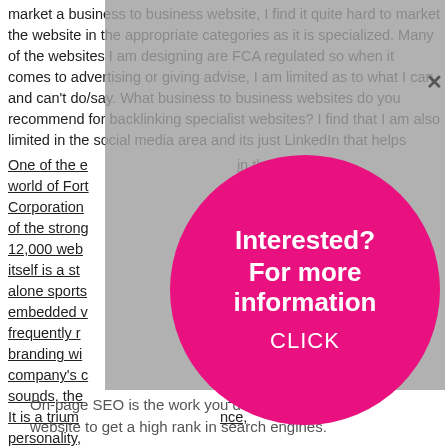market a business to business website, I find it quite hard to market the website in the appropriate categories as it is specialized. Many of the websites I am designing are FCA regulated so when it comes to advertising or giving advise, I am limited as to what I can and can't do/say. What business to business websites do you recommend for backlinking specialist websites? I find that I am also limited in the social media area and its just LinkedIn that helps
One of the e... in the world of Fort... ola Corporation... nks has one of the strong... e than 12,000 web... , which itself is a st... homepage alone sports... umn, an embedded v... t, frequently r... tab, tie-in branding wi... nk to the company's c... w busy that sounds, the... asy to read. It is a trium... nce, personality,...
[Figure (other): A magenta/hot-pink circular call-to-action overlay button reading 'Interested? For more information CLICK', displayed over a gray semi-transparent overlay. A close (×) button is visible in the upper right of the overlay.]
On-page SEO is the work you do on your own website to get a high rank in search engines.